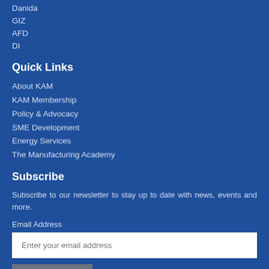Danida
GIZ
AFD
DI
Quick Links
About KAM
KAM Membership
Policy & Advocacy
SME Development
Energy Services
The Manufacturing Academy
Subscribe
Subscribe to our newsletter to stay up to date with news, events and more.
Email Address
Enter your email address
SUBSCRIBE